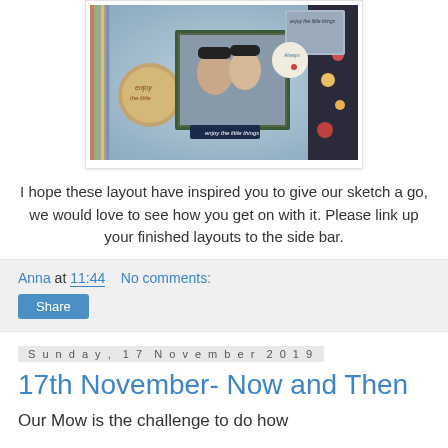[Figure (photo): Scrapbook layout photograph showing a couple wearing sunglasses and floral decorative elements]
I hope these layout have inspired you to give our sketch a go, we would love to see how you get on with it. Please link up your finished layouts to the side bar.
Anna at 11:44    No comments:
Share
Sunday, 17 November 2019
17th November- Now and Then
Our Mow is the challenge to do how